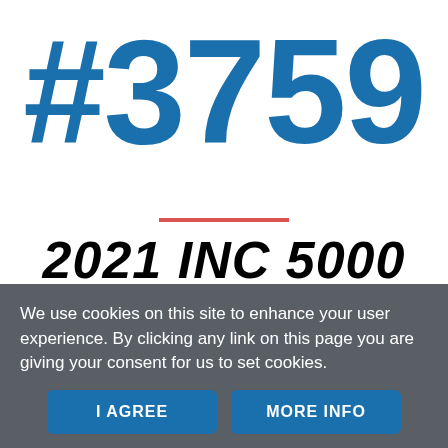#3759
2021 INC 5000 AMERICA'S FASTEST-GROWING
We use cookies on this site to enhance your user experience. By clicking any link on this page you are giving your consent for us to set cookies.
I AGREE
MORE INFO